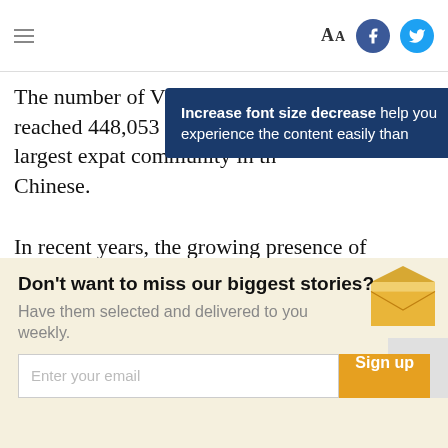Aa [Facebook] [Twitter]
The number of Vietnamese residents in Japan reached 448,053 last year, making them the largest expat community in the country after Chinese.
Increase font size decrease help you experience the content easily than
In recent years, the growing presence of Japanese companies in Vietnam has sparked greater interest among younger Vietnamese to study and/or undertake technical training programs in Japan in the hope of landing a well-paid job.
Don't want to miss our biggest stories? Have them selected and delivered to you weekly. [Enter your email] [Sign up]